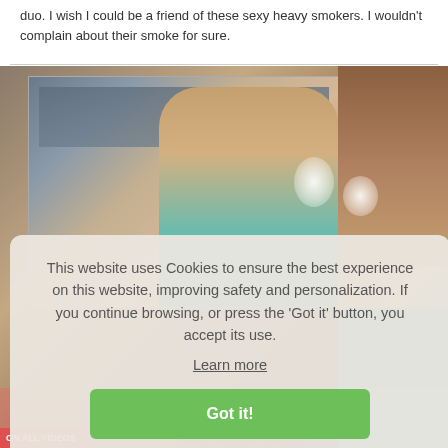duo. I wish I could be a friend of these sexy heavy smokers. I wouldn't complain about their smoke for sure.
[Figure (photo): Photo of a woman with brown hair appearing to exhale smoke, with bookshelves in the background. A cookie consent banner overlays the lower portion of the image.]
This website uses Cookies to ensure the best experience on this website, improving safety and personalization. If you continue browsing, or press the 'Got it' button, you accept its use.
Learn more
Got it!
Ariadna: Smoking 9 cigarettes